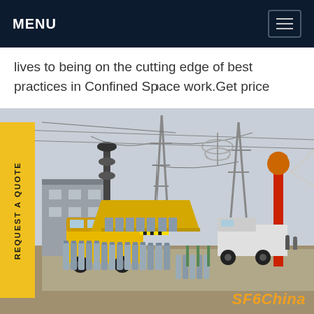MENU
lives to being on the cutting edge of best practices in Confined Space work.Get price
[Figure (photo): Industrial electrical substation scene with yellow service trucks, rows of grey gas cylinders lined up on the ground, high-voltage transmission towers and insulators in the background, a red and orange lightning rod tower at right, SF6 gas servicing equipment and workers visible. Green chat icon overlay. SF6China watermark at bottom right.]
SF6China